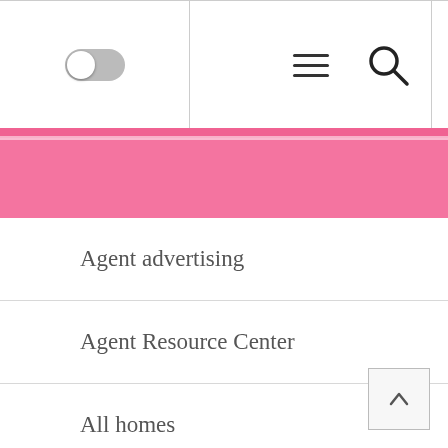[Figure (screenshot): Mobile navigation header with toggle switch on left, hamburger menu icon in center, and search icon on right, separated by vertical lines]
[Figure (other): Pink horizontal accent bar below header]
Agent advertising
Agent Resource Center
All homes
All rental buildings